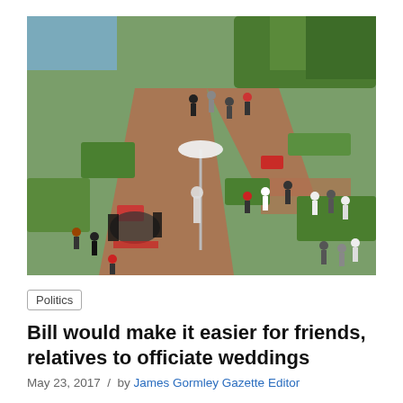[Figure (photo): Aerial view of an outdoor garden wedding reception with guests gathered on brick pathways, surrounded by green hedges, flowers, and trees. Tables with red accents and white umbrellas are visible.]
Politics
Bill would make it easier for friends, relatives to officiate weddings
May 23, 2017 / by James Gormley Gazette Editor